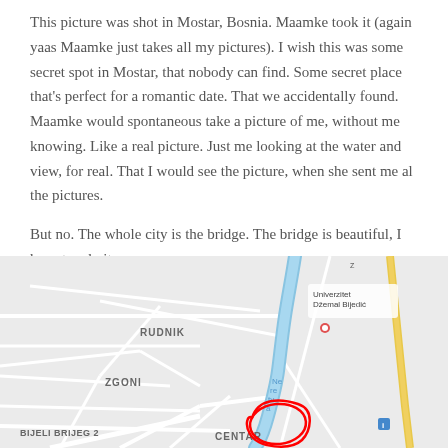This picture was shot in Mostar, Bosnia. Maamke took it (again yaas Maamke just takes all my pictures). I wish this was some secret spot in Mostar, that nobody can find. Some secret place that's perfect for a romantic date. That we accidentally found. Maamke would spontaneous take a picture of me, without me knowing. Like a real picture. Just me looking at the water and view, for real. That I would see the picture, when she sent me al the pictures.
But no. The whole city is the bridge. The bridge is beautiful, I have to admit.
[Figure (map): Google Maps view of Mostar, Bosnia showing neighborhoods including RUDNIK, ZGONI, BIJELI BRIJEG 2, CENTAR, and Univerzitet Džemal Bijedić. A blue river runs through the center. A red hand-drawn circle marks a location near the center/bridge area. Yellow road visible on right side.]